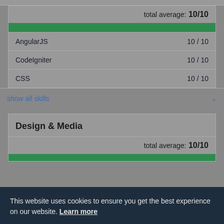total average: 10/10
AngularJS 10 / 10
CodeIgniter 10 / 10
CSS 10 / 10
show all skills
Design & Media
total average: 10/10
This website uses cookies to ensure you get the best experience on our website. Learn more